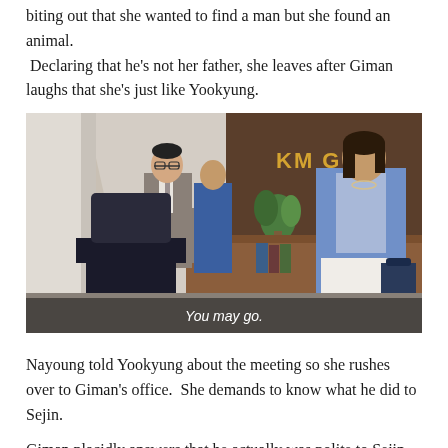biting out that she wanted to find a man but she found an animal.  Declaring that he's not her father, she leaves after Giman laughs that she's just like Yookyung.
[Figure (screenshot): A screenshot from a Korean drama showing two people in an office. A man in a grey suit and a woman in a blue blazer stand across from each other. Behind them is a large desk and a sign reading 'KM Global'. A subtitle at the bottom reads 'You may go.']
Nayoung told Yookyung about the meeting so she rushes over to Giman's office.  She demands to know what he did to Sejin.
Giman placidly answers that he actually was polite to Sejin.  He knew that Sejin was his daughter through her. So he didn't even ask for a DNA test like the other children.  But, he's not sure what Sejin wanted